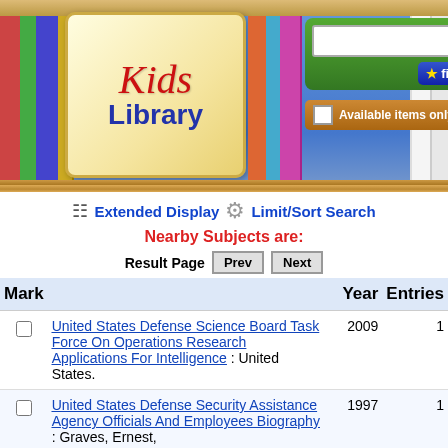[Figure (screenshot): Kids Library logo with colorful books and search bar interface]
Extended Display  Limit/Sort Search
Nearby Subjects are:
Result Page  Prev  Next
| Mark |  | Year | Entries |
| --- | --- | --- | --- |
| ☐ | United States Defense Science Board Task Force On Operations Research Applications For Intelligence : United States. | 2009 | 1 |
| ☐ | United States Defense Security Assistance Agency Officials And Employees Biography : Graves, Ernest, | 1997 | 1 |
| ☐ | United States Defense Security Cooperation Agency : United States. | 2002 | 1 |
| ☐ | United States Defense Security | 1999 | 1 |